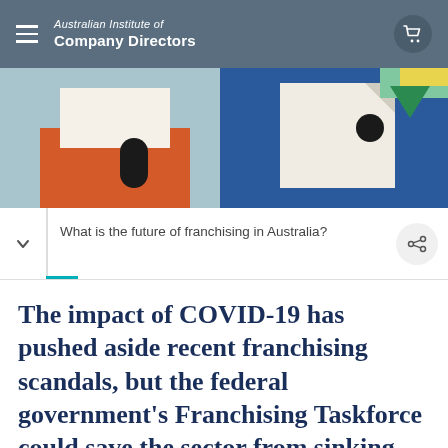Australian Institute of Company Directors
[Figure (illustration): Abstract geometric illustration showing stylized buildings/shapes in red, orange, blue, teal, white, yellow, and green on a teal/blue background, suggesting an urban or business scene.]
What is the future of franchising in Australia?
The impact of COVID-19 has pushed aside recent franchising scandals, but the federal government's Franchising Taskforce could save the sector from sinking.